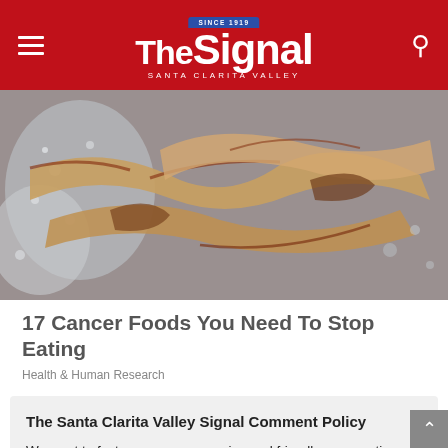The Signal — Santa Clarita Valley
[Figure (photo): Bacon strips frying in a pan with bubbling oil]
17 Cancer Foods You Need To Stop Eating
Health & Human Research
The Santa Clarita Valley Signal Comment Policy
We want to foster an open, engaging and friendly commenting environment.
Please read our Comment Policy before commenting.